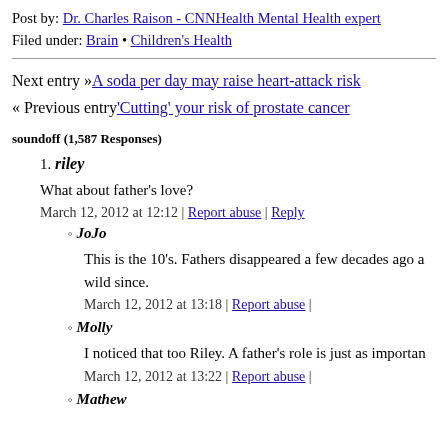Post by: Dr. Charles Raison - CNNHealth Mental Health expert
Filed under: Brain • Children's Health
Next entry »A soda per day may raise heart-attack risk
« Previous entry'Cutting' your risk of prostate cancer
soundoff (1,587 Responses)
1. riley
What about father's love?
March 12, 2012 at 12:12 | Report abuse | Reply
JoJo
This is the 10's. Fathers disappeared a few decades ago a wild since.
March 12, 2012 at 13:18 | Report abuse |
Molly
I noticed that too Riley. A father's role is just as importan
March 12, 2012 at 13:22 | Report abuse |
Mathew